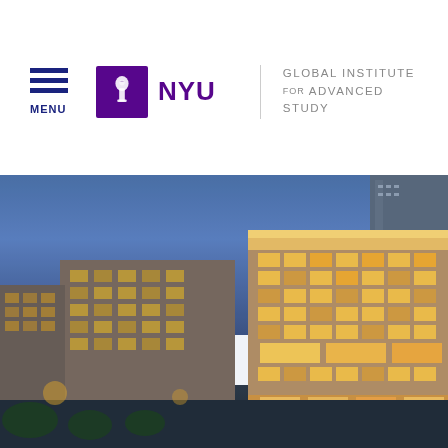MENU | NYU Global Institute for Advanced Study
[Figure (photo): Aerial dusk photograph of NYU campus buildings in New York City, showing illuminated modern and older brick buildings against a blue evening sky.]